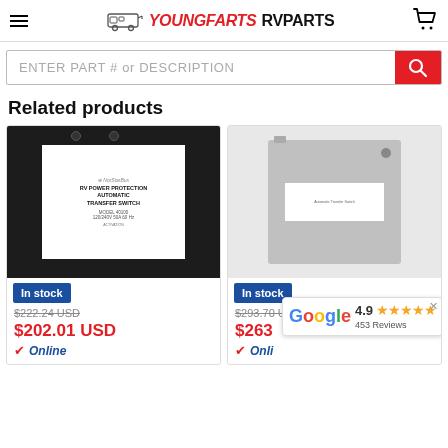YoungFarts RV Parts — site header with hamburger menu, logo, and cart icon
ENTER PART # or DESCRIPTION (search bar)
Related products
[Figure (photo): Product photo: RV Power Protection Automatic Transfer Switch in black metal box with white label. 'In stock' blue badge. Was $222.24 USD, now $202.01 USD. Online availability checkmark.]
[Figure (photo): Product photo: Gray metal automatic transfer switch box. 'In stock' blue badge. Was $293.70 USD, now $263.xx USD (partially obscured). Online availability checkmark. Google rating badge: 4.9 stars, 453 Reviews.]